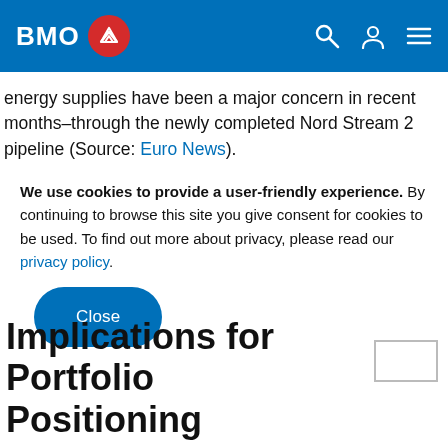BMO
energy supplies have been a major concern in recent months–through the newly completed Nord Stream 2 pipeline (Source: Euro News).
We use cookies to provide a user-friendly experience. By continuing to browse this site you give consent for cookies to be used. To find out more about privacy, please read our privacy policy.
Close
Implications for Portfolio Positioning